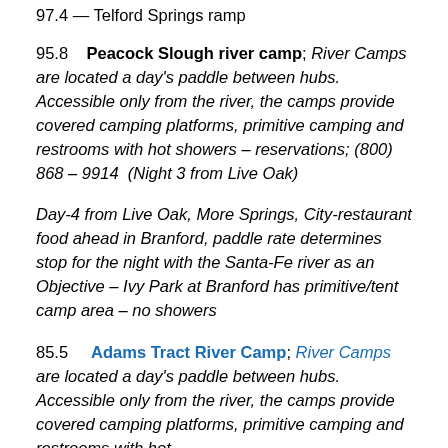97.4   Telford Springs ramp
95.8   Peacock Slough river camp; River Camps are located a day's paddle between hubs. Accessible only from the river, the camps provide covered camping platforms, primitive camping and restrooms with hot showers – reservations; (800) 868 – 9914  (Night 3 from Live Oak)
Day-4 from Live Oak, More Springs, City-restaurant food ahead in Branford, paddle rate determines stop for the night with the Santa-Fe river as an Objective – Ivy Park at Branford has primitive/tent camp area – no showers
85.5   Adams Tract River Camp; River Camps are located a day's paddle between hubs. Accessible only from the river, the camps provide covered camping platforms, primitive camping and restrooms with hot